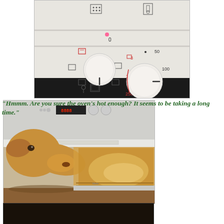[Figure (photo): Close-up photo of an oven control panel showing two white rotary knobs with cooking mode symbols and temperature markings (50, 100, 200, 250), with a small pink/red indicator light.]
[Figure (photo): Photo of a dog (golden/brown colored) sniffing or peeking into an open oven door, with the oven interior visible and the oven control panel in the background.]
"Hmmm. Are you sure the oven's hot enough? It seems to be taking a long time."
[Figure (photo): Partial photo at the bottom of the page, mostly dark/black, appears to be another image cut off.]